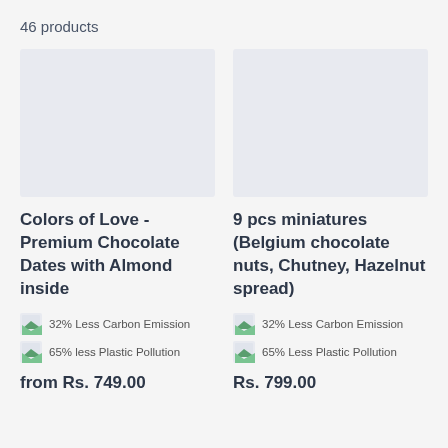46 products
[Figure (photo): Product image placeholder (light gray rectangle) for Colors of Love - Premium Chocolate Dates with Almond inside]
Colors of Love - Premium Chocolate Dates with Almond inside
32% Less Carbon Emission
65% less Plastic Pollution
from Rs. 749.00
[Figure (photo): Product image placeholder (light gray rectangle) for 9 pcs miniatures (Belgium chocolate nuts, Chutney, Hazelnut spread)]
9 pcs miniatures (Belgium chocolate nuts, Chutney, Hazelnut spread)
32% Less Carbon Emission
65% Less Plastic Pollution
Rs. 799.00